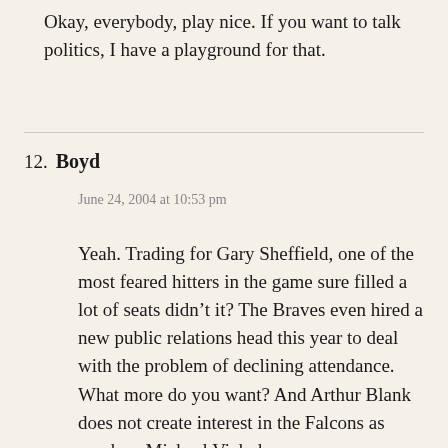Okay, everybody, play nice. If you want to talk politics, I have a playground for that.
12. Boyd
June 24, 2004 at 10:53 pm

Yeah. Trading for Gary Sheffield, one of the most feared hitters in the game sure filled a lot of seats didn’t it? The Braves even hired a new public relations head this year to deal with the problem of declining attendance. What more do you want? And Arthur Blank does not create interest in the Falcons as much as Michael Vick does.